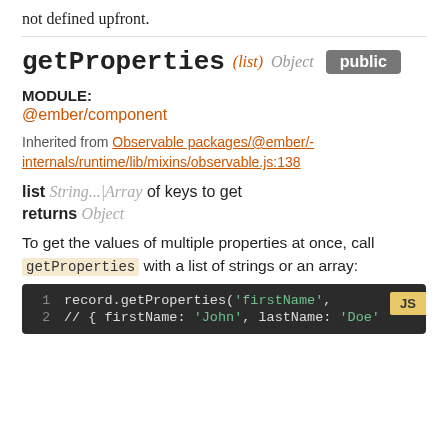not defined upfront.
getProperties (list) Object public
MODULE:
@ember/component
Inherited from Observable packages/@ember/-internals/runtime/lib/mixins/observable.js:138
list String...|Array of keys to get
returns Object
To get the values of multiple properties at once, call getProperties with a list of strings or an array:
1   record.getProperties('firstName',
2   // { firstName: 'John', lastName: 'Doe'